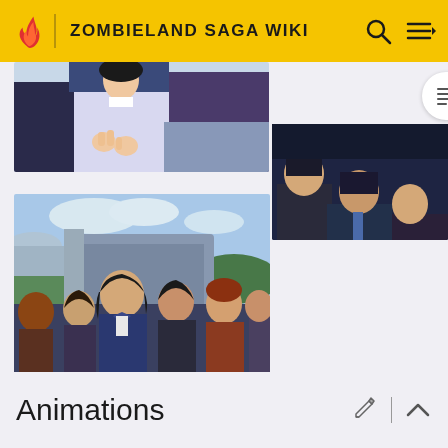ZOMBIELAND SAGA WIKI
[Figure (screenshot): Anime screenshot top-left: close-up of characters, one in blue suit with white shirt, another in dark clothing]
[Figure (screenshot): Anime screenshot top-right: dark scene with characters in dark clothing, sitting]
[Figure (screenshot): Anime screenshot bottom-left: outdoor crowd scene with multiple characters, one prominent woman with dark hair in a blue outfit, others around her, building and cloudy sky in background]
Animations